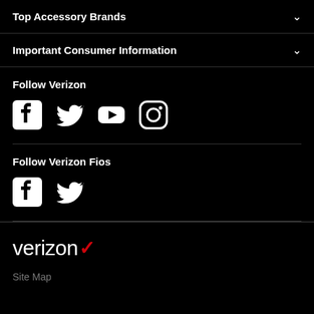Top Accessory Brands
Important Consumer Information
Follow Verizon
[Figure (other): Social media icons for Verizon: Facebook, Twitter, YouTube, Instagram]
Follow Verizon Fios
[Figure (other): Social media icons for Verizon Fios: Facebook, Twitter]
[Figure (logo): Verizon logo with red checkmark]
Site Map